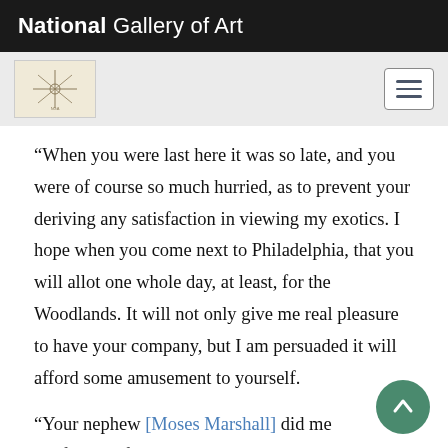National Gallery of Art
[Figure (logo): National Gallery of Art compass/star logo mark in a beige box, and a hamburger menu icon button on the right]
“When you were last here it was so late, and you were of course so much hurried, as to prevent your deriving any satisfaction in viewing my exotics. I hope when you come next to Philadelphia, that you will allot one whole day, at least, for the Woodlands. It will not only give me real pleasure to have your company, but I am persuaded it will afford some amusement to yourself.
“Your nephew [Moses Marshall] did me the favour of calling, the other day; but he, too, was in and had little opportunity of satisfying his curiosity.